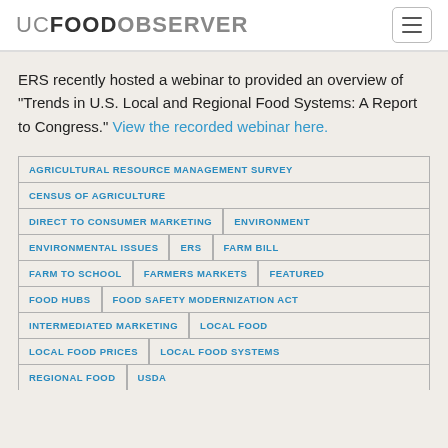UC FOOD OBSERVER
ERS recently hosted a webinar to provided an overview of “Trends in U.S. Local and Regional Food Systems: A Report to Congress.” View the recorded webinar here.
AGRICULTURAL RESOURCE MANAGEMENT SURVEY
CENSUS OF AGRICULTURE
DIRECT TO CONSUMER MARKETING
ENVIRONMENT
ENVIRONMENTAL ISSUES
ERS
FARM BILL
FARM TO SCHOOL
FARMERS MARKETS
FEATURED
FOOD HUBS
FOOD SAFETY MODERNIZATION ACT
INTERMEDIATED MARKETING
LOCAL FOOD
LOCAL FOOD PRICES
LOCAL FOOD SYSTEMS
REGIONAL FOOD
USDA